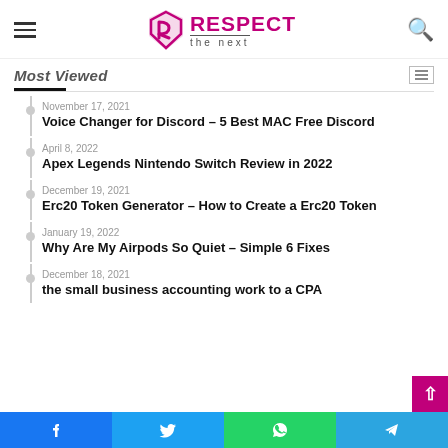RESPECT the next
Most Viewed
November 17, 2021 — Voice Changer for Discord – 5 Best MAC Free Discord
April 8, 2022 — Apex Legends Nintendo Switch Review in 2022
December 19, 2021 — Erc20 Token Generator – How to Create a Erc20 Token
January 19, 2022 — Why Are My Airpods So Quiet – Simple 6 Fixes
December 18, 2021 — the small business accounting work to a CPA